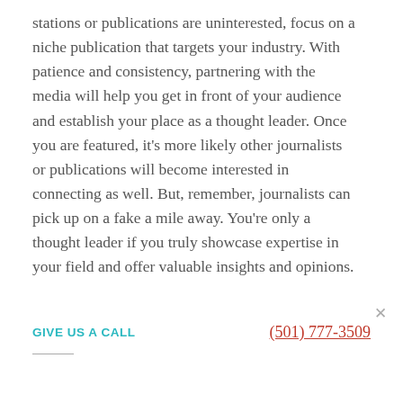stations or publications are uninterested, focus on a niche publication that targets your industry. With patience and consistency, partnering with the media will help you get in front of your audience and establish your place as a thought leader. Once you are featured, it’s more likely other journalists or publications will become interested in connecting as well. But, remember, journalists can pick up on a fake a mile away. You’re only a thought leader if you truly showcase expertise in your field and offer valuable insights and opinions.
GIVE US A CALL
(501) 777-3509